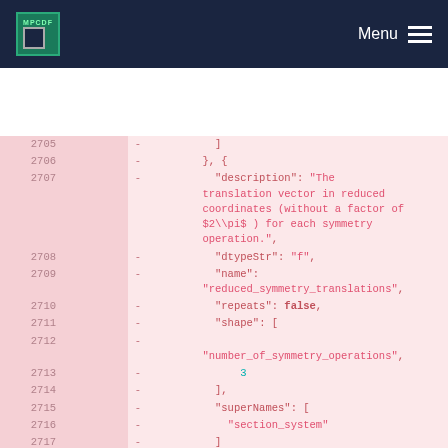MPCDF  Menu
Code diff view showing lines 2705-2718 of a JSON schema definition for reduced_symmetry_translations